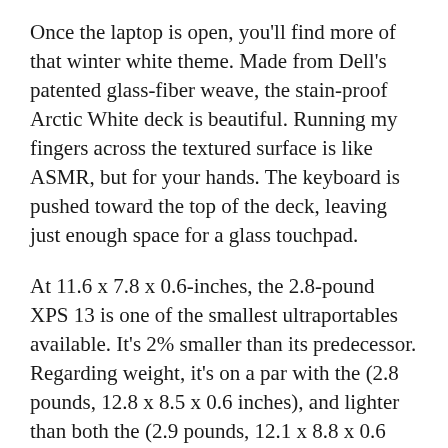Once the laptop is open, you'll find more of that winter white theme. Made from Dell's patented glass-fiber weave, the stain-proof Arctic White deck is beautiful. Running my fingers across the textured surface is like ASMR, but for your hands. The keyboard is pushed toward the top of the deck, leaving just enough space for a glass touchpad.
At 11.6 x 7.8 x 0.6-inches, the 2.8-pound XPS 13 is one of the smallest ultraportables available. It's 2% smaller than its predecessor. Regarding weight, it's on a par with the (2.8 pounds, 12.8 x 8.5 x 0.6 inches), and lighter than both the (2.9 pounds, 12.1 x 8.8 x 0.6 inches) and (4.4 pounds, 12.8 x 8.9 x 1 inches). However, the (2.7 pounds, 12.1 x 7.7 x 0.7 inches) is a tad lighter but slightly thicker.